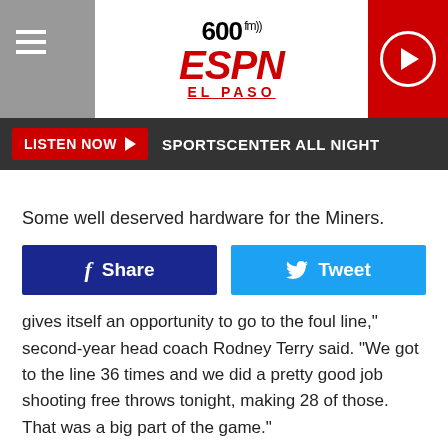600 fm ESPN EL PASO
LISTEN NOW  SPORTSCENTER ALL NIGHT
Some well deserved hardware for the Miners.
[Figure (other): Facebook Share button and Twitter Tweet button]
gives itself an opportunity to go to the foul line," second-year head coach Rodney Terry said. "We got to the line 36 times and we did a pretty good job shooting free throws tonight, making 28 of those. That was a big part of the game."
UTEP didn't shoot particularly well, making 33.3 percent from the floor (17-of-51) and were dominated off the glass (44-27). But their 23 points off 22 turnovers swayed the game in UTEP's favor, along with their season-best 28 made free